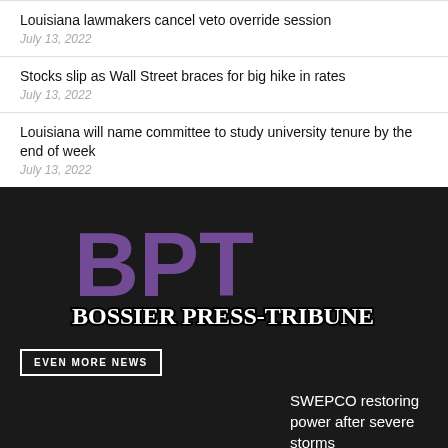Louisiana lawmakers cancel veto override session
July 13, 2022
Stocks slip as Wall Street braces for big hike in rates
July 13, 2022
Louisiana will name committee to study university tenure by the end of week
July 13, 2022
[Figure (logo): BPT Bossier Press-Tribune logo — large purple letters 'BPT' above 'Bossier Press-Tribune' in white serif text on dark background]
EVEN MORE NEWS
SWEPCO restoring power after severe storms